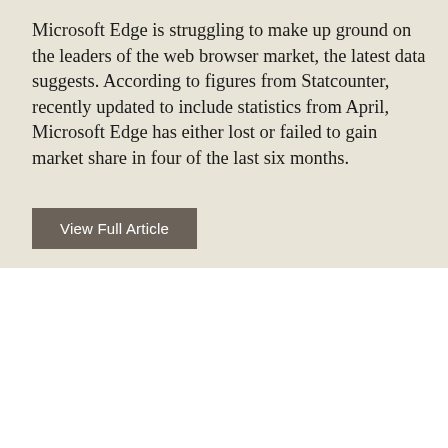Microsoft Edge is struggling to make up ground on the leaders of the web browser market, the latest data suggests. According to figures from Statcounter, recently updated to include statistics from April, Microsoft Edge has either lost or failed to gain market share in four of the last six months.
View Full Article
This site uses cookies to give you the most relevant experience by remembering your preferences and repeat visits. By clicking "Accept All", you consent to the use of ALL the cookies. However, you may visit "Cookie Settings" to provide a controlled consent.
Reject All
Cookie Settings
Accept All